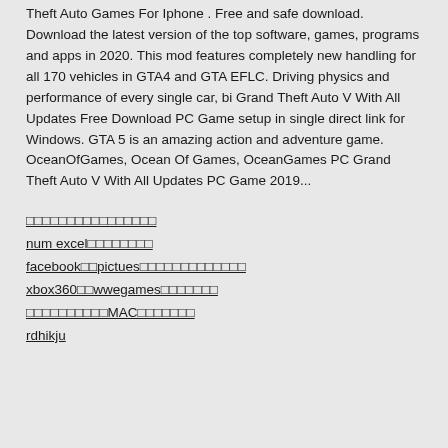Theft Auto Games For Iphone . Free and safe download. Download the latest version of the top software, games, programs and apps in 2020. This mod features completely new handling for all 170 vehicles in GTA4 and GTA EFLC. Driving physics and performance of every single car, bi Grand Theft Auto V With All Updates Free Download PC Game setup in single direct link for Windows. GTA 5 is an amazing action and adventure game. OceanOfGames, Ocean Of Games, OceanGames PC Grand Theft Auto V With All Updates PC Game 2019...
□□□□□□□□□□□□□□□□
num excel□□□□□□□□
facebook□□pictues□□□□□□□□□□□□□□□
xbox360□□wwegames□□□□□□□□
□□□□□□□□□□□MAC□□□□□□□□
rdhikju